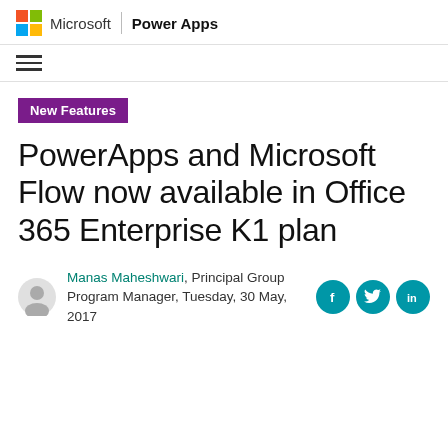Microsoft | Power Apps
[Figure (logo): Microsoft logo (4-color grid) with 'Microsoft' brand name, a vertical divider, and 'Power Apps' product name]
New Features
PowerApps and Microsoft Flow now available in Office 365 Enterprise K1 plan
Manas Maheshwari, Principal Group Program Manager, Tuesday, 30 May, 2017